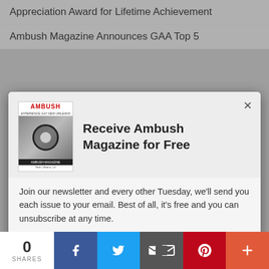Appreciation Award for Lifetime Achievement
Ambush Magazine Announces GAA Top 5
[Figure (screenshot): Modal popup overlay on a website showing a subscription offer for Ambush Magazine. Contains magazine cover image, heading 'Receive Ambush Magazine for Free', body text about newsletter subscription, and a purple 'Subscribe now' button. Behind the modal are partially visible list items: Gay New Orleans, Gay Mardi Gras, Gay Easter Parade, New Orleans Pride.]
Gay Appreciation Awards
Southern Decadence
[Figure (infographic): Social sharing bar at bottom: 0 SHARES count, followed by Facebook (blue), Twitter (light blue), Email (dark gray), Pinterest (red), and More (orange-red) share buttons with icons.]